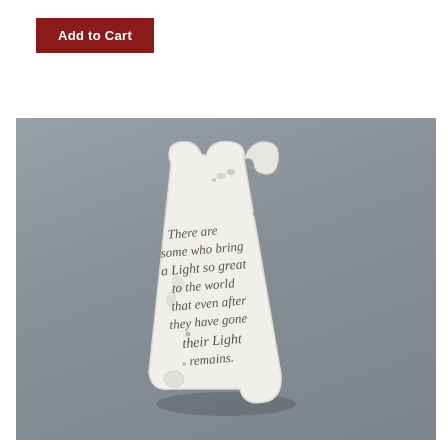[Figure (other): A dark red 'Add to Cart' button]
[Figure (photo): A white ceramic scroll figurine on a gray background with cursive text reading: 'There are some who bring a Light so great to the world that even after they have gone their Light remains.']